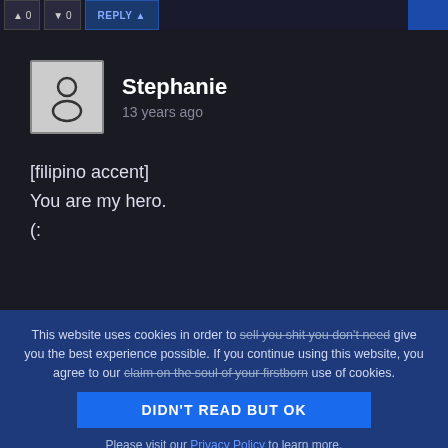[Figure (screenshot): Top navigation bar with vote buttons (up/down) and REPLY button, dark background]
Stephanie
13 years ago
[filipino accent]
You are my hero.
(:
This website uses cookies in order to sell you shit you don't need give you the best experience possible. If you continue using this website, you agree to our claim on the soul of your firstborn use of cookies.
DIDN'T READ BUT OK
Please visit our Privacy Policy to learn more.